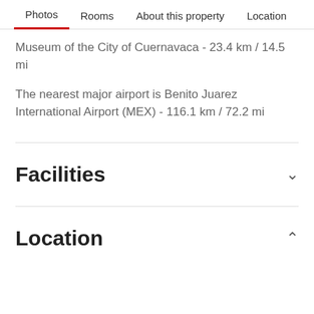Photos  Rooms  About this property  Location
Museum of the City of Cuernavaca - 23.4 km / 14.5 mi
The nearest major airport is Benito Juarez International Airport (MEX) - 116.1 km / 72.2 mi
Facilities
Location